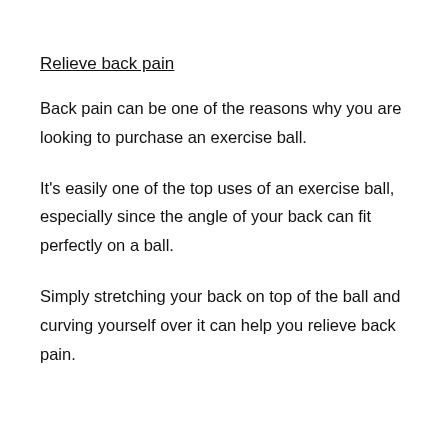Relieve back pain
Back pain can be one of the reasons why you are looking to purchase an exercise ball.
It’s easily one of the top uses of an exercise ball, especially since the angle of your back can fit perfectly on a ball.
Simply stretching your back on top of the ball and curving yourself over it can help you relieve back pain.